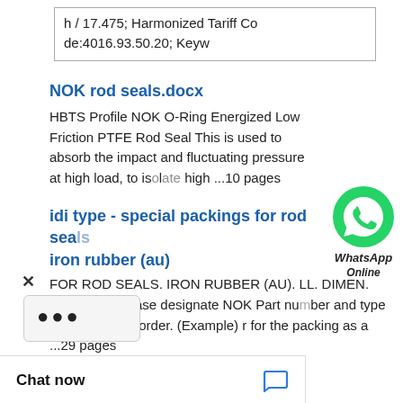| h / 17.475; Harmonized Tariff Code:4016.93.50.20; Keyw |
NOK rod seals.docx
HBTS Profile NOK O-Ring Energized Low Friction PTFE Rod Seal This is used to absorb the impact and fluctuating pressure at high load, to isolate high ...10 pages
idi type - special packings for rod seals iron rubber (au)
FOR ROD SEALS. IRON RUBBER (AU). LL. DIMEN. SION. -A-. Please designate NOK Part number and type & size on your order. (Example) r for the packing as a ...29 pages
NOK...
PACKINGS.
[Figure (logo): WhatsApp green icon with speech bubble, labeled WhatsApp Online]
Chat now